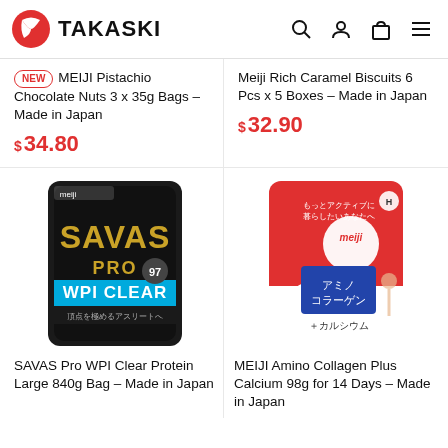TAKASKI
NEW  MEIJI Pistachio Chocolate Nuts 3 x 35g Bags – Made in Japan
$ 34.80
Meiji Rich Caramel Biscuits 6 Pcs x 5 Boxes – Made in Japan
$ 32.90
[Figure (photo): SAVAS Pro WPI Clear Protein black bag product photo]
[Figure (photo): MEIJI Amino Collagen Plus Calcium red/white bag product photo]
SAVAS Pro WPI Clear Protein Large 840g Bag – Made in Japan
MEIJI Amino Collagen Plus Calcium 98g for 14 Days – Made in Japan